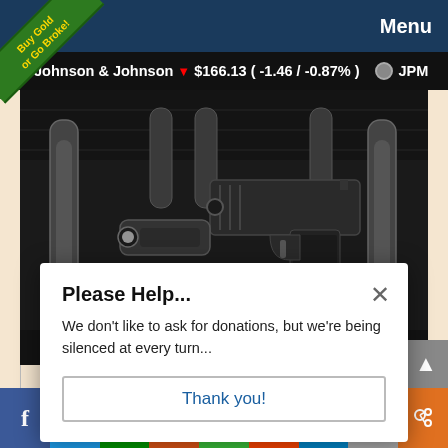Menu
[Figure (screenshot): Green diagonal corner banner reading 'Buy Gold or Go Broke!']
Johnson & Johnson ▼ $166.13 (-1.46 / -0.87%)   ● JPM
[Figure (photo): Black and white photograph of firearms and accessories in an open carrying case]
Please Help...
We don't like to ask for donations, but we're being silenced at every turn...
Thank you!
[Figure (infographic): Social media share bar with icons for Facebook, Twitter, MeWe, Parler, Gab, Reddit, Telegram, Email, and Share]